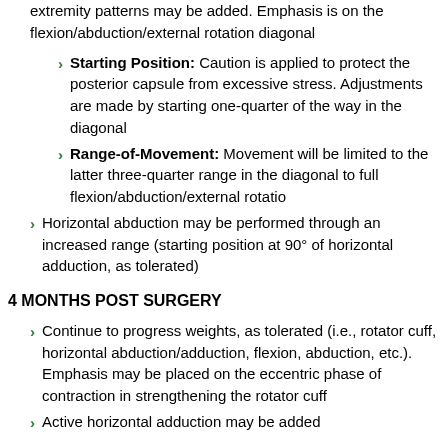extremity patterns may be added. Emphasis is on the flexion/abduction/external rotation diagonal
Starting Position: Caution is applied to protect the posterior capsule from excessive stress. Adjustments are made by starting one-quarter of the way in the diagonal
Range-of-Movement: Movement will be limited to the latter three-quarter range in the diagonal to full flexion/abduction/external rotatio
Horizontal abduction may be performed through an increased range (starting position at 90° of horizontal adduction, as tolerated)
4 MONTHS POST SURGERY
Continue to progress weights, as tolerated (i.e., rotator cuff, horizontal abduction/adduction, flexion, abduction, etc.). Emphasis may be placed on the eccentric phase of contraction in strengthening the rotator cuff
Active horizontal adduction may be added